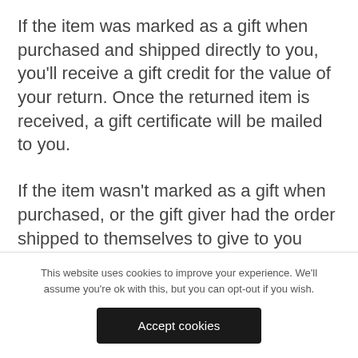If the item was marked as a gift when purchased and shipped directly to you, you'll receive a gift credit for the value of your return. Once the returned item is received, a gift certificate will be mailed to you.
If the item wasn't marked as a gift when purchased, or the gift giver had the order shipped to themselves to give to you later, we will send a refund to the gift giver and they will find out about your return.
This website uses cookies to improve your experience. We'll assume you're ok with this, but you can opt-out if you wish.
Accept cookies